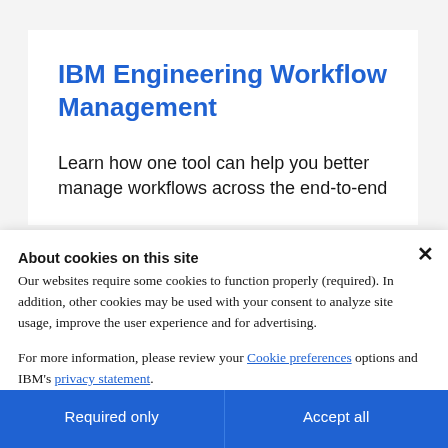IBM Engineering Workflow Management
Learn how one tool can help you better manage workflows across the end-to-end
About cookies on this site
Our websites require some cookies to function properly (required). In addition, other cookies may be used with your consent to analyze site usage, improve the user experience and for advertising.
For more information, please review your Cookie preferences options and IBM's privacy statement.
Required only
Accept all